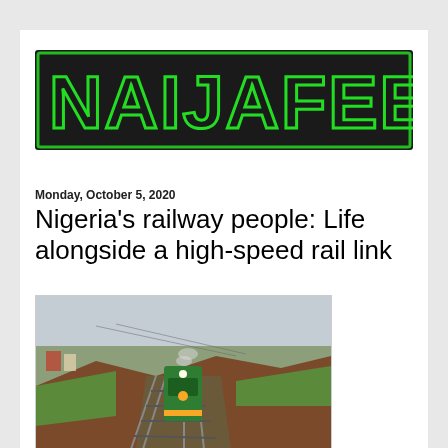[Figure (logo): NAIJAFEED logo with large green outlined block letters on a dark background with green border]
Monday, October 5, 2020
Nigeria's railway people: Life alongside a high-speed rail link
[Figure (photo): Aerial view of a green Nigerian railway train on tracks through a rural landscape with red earth embankments]